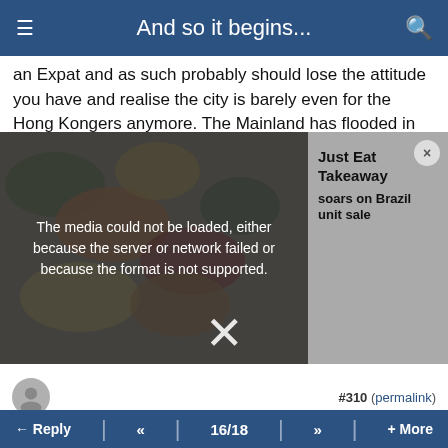And so it begins...
an Expat and as such probably should lose the attitude you have and realise the city is barely even for the Hong Kongers anymore. The Mainland has flooded in and
[Figure (screenshot): Advertisement overlay showing food delivery imagery with media error message. Text reads: 'Just Eat Takeaway soars on Brazil unit sale'. Error message: 'The media could not be loaded, either because the server or network failed or because the format is not supported.' Large X close button visible.]
#310 (permalink)
Oasis . 5th Mar 2022 10:12
Quote:
Originally Posted by minglestar
How dare you expat pilots wish ill will towards HK people and the elderly especially, so that
← Reply  «  16/18  »  + More